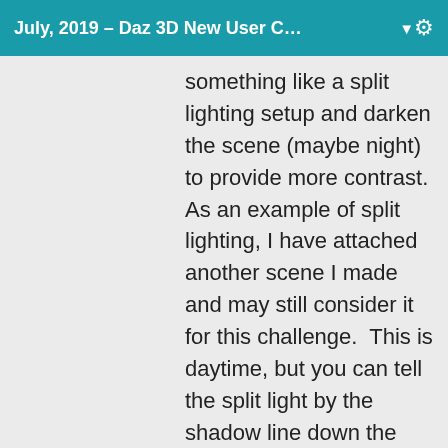July, 2019 – Daz 3D New User C… ▼ ⚙
something like a split lighting setup and darken the scene (maybe night) to provide more contrast. As an example of split lighting, I have attached another scene I made and may still consider it for this challenge.  This is daytime, but you can tell the split light by the shadow line down the bridge of her nose. There is the environment light to the scene right with a morning light glow, an additional emissive light on that same side to add more color, and on the shadow side,